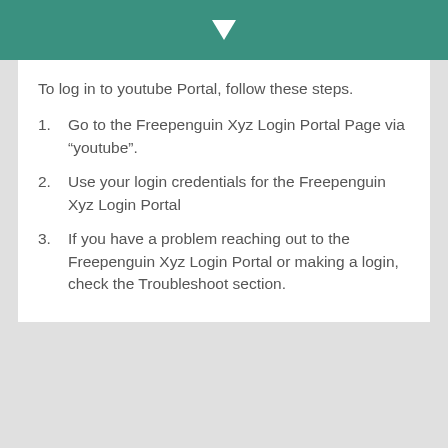[Figure (other): Teal header bar with a white downward arrow icon]
To log in to youtube Portal, follow these steps.
Go to the Freepenguin Xyz Login Portal Page via “youtube”.
Use your login credentials for the Freepenguin Xyz Login Portal
If you have a problem reaching out to the Freepenguin Xyz Login Portal or making a login, check the Troubleshoot section.